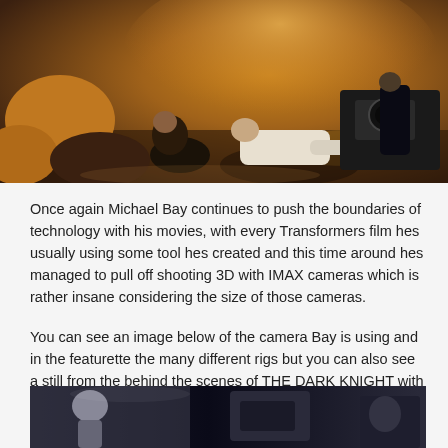[Figure (photo): Behind-the-scenes film set photo showing crew members filming on the ground with camera equipment, warm orange/amber lighting, rocky terrain environment]
Once again Michael Bay continues to push the boundaries of technology with his movies, with every Transformers film hes usually using some tool hes created and this time around hes managed to pull off shooting 3D with IMAX cameras which is rather insane considering the size of those cameras.
You can see an image below of the camera Bay is using and in the featurette the many different rigs but you can also see a still from the behind the scenes of THE DARK KNIGHT with Nolan using an IMAX camera aswell and you can see how far its come in a relatively short period of time.
[Figure (photo): Behind-the-scenes photo showing crew with camera equipment, dark/low-light setting]